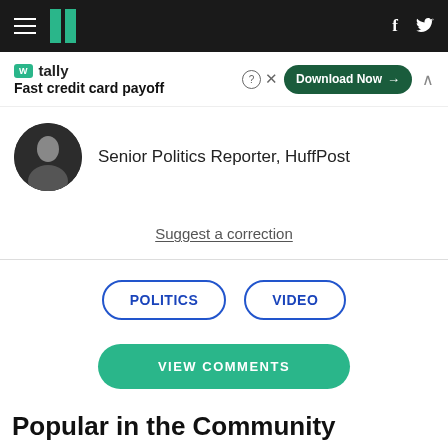HuffPost navigation bar with hamburger menu, logo, Facebook and Twitter icons
[Figure (screenshot): Tally ad banner: Fast credit card payoff, Download Now button]
Senior Politics Reporter, HuffPost
Suggest a correction
POLITICS
VIDEO
VIEW COMMENTS
Popular in the Community